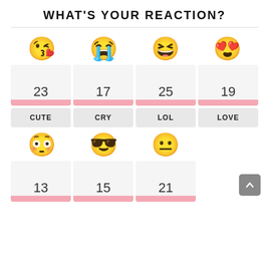WHAT'S YOUR REACTION?
[Figure (infographic): Reaction emoji poll with 7 emojis (kiss, crying, laughing, heart-eyes, shocked, sunglasses, neutral) each with vote counts (23, 17, 25, 19, 13, 15, 21) and labels (CUTE, CRY, LOL, LOVE, and three more partially visible)]
| CUTE | CRY | LOL | LOVE | OMG | COOL | MEH |
| --- | --- | --- | --- | --- | --- | --- |
| 23 | 17 | 25 | 19 | 13 | 15 | 21 |